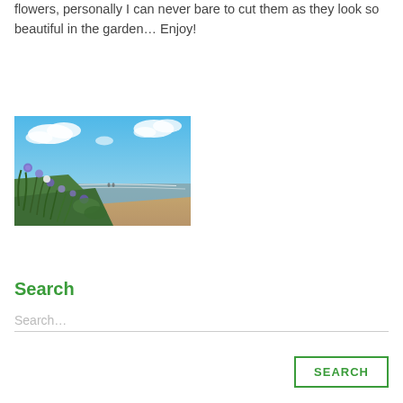flowers, personally I can never bare to cut them as they look so beautiful in the garden… Enjoy!
[Figure (photo): Coastal beach scene with blue sky and white clouds, sandy beach with gentle waves, and a foreground hillside covered in green plants and purple agapanthus flowers.]
Search
Search…
SEARCH